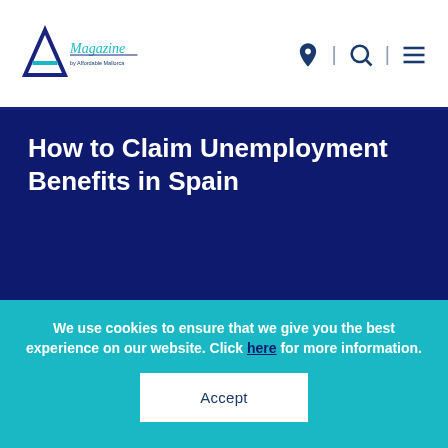Magazine by Affordable Mallorca
How to Claim Unemployment Benefits in Spain
#ISLANDLIFE
We use cookies to ensure that we give you the best experience on our website. Click here for more information.
Accept